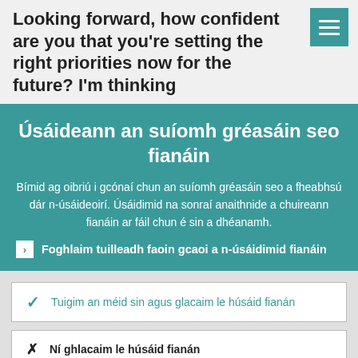Looking forward, how confident are you that you're setting the right priorities now for the future? I'm thinking
Úsáideann an suíomh gréasáin seo fianáin
Bímid ag oibriú i gcónaí chun an suíomh gréasáin seo a fheabhsú dár n-úsáideoirí. Úsáidimid na sonraí anaithnide a chuireann fianáin ar fáil chun é sin a dhéanamh.
Foghlaim tuilleadh faoin gcaoi a n-úsáidimid fianáin
Tuigim an méid sin agus glacaim le húsáid fianán
Ní ghlacaim le húsáid fianán